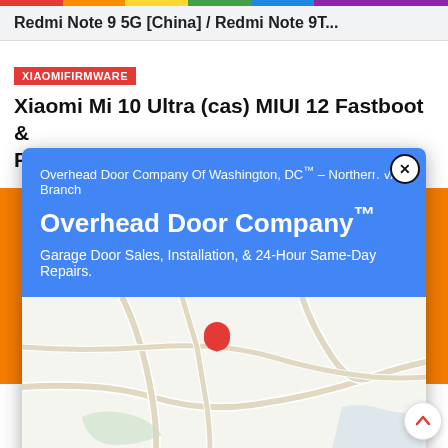Redmi Note 9 5G [China] / Redmi Note 9T...
XIAOMIFIRMWARE
Xiaomi Mi 10 Ultra (cas) MIUI 12 Fastboot & Recovery ROM Downloads
21 N... 2021  ...  10:47
[Figure (screenshot): Google Maps ad overlay for Overhead Door Company Of Washington, DC - Northern VA Branch, showing blue header with company name, map with location pin, and Store info / Directions buttons]
Overhead Door Company Of Washington, DC™ – Northern VA Branch
Overhead Door Company™
Garage Door Sales, Installation, & 24-Hour Same-Day Repairs.
Store info
Directions